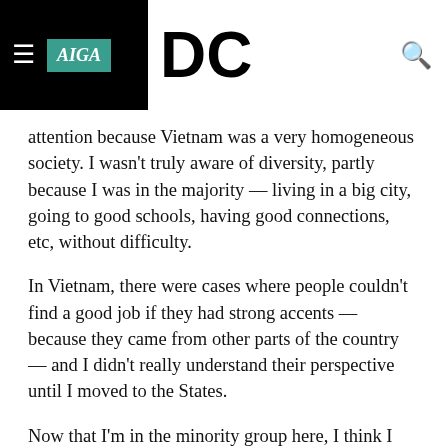AIGA DC
attention because Vietnam was a very homogeneous society. I wasn't truly aware of diversity, partly because I was in the majority — living in a big city, going to good schools, having good connections, etc, without difficulty.
In Vietnam, there were cases where people couldn't find a good job if they had strong accents — because they came from other parts of the country — and I didn't really understand their perspective until I moved to the States.
Now that I'm in the minority group here, I think I have better understanding about diversity and inclusion. And I hope that one day I could feel more like an Asian American, instead of just a Vietnamese living in the United States.
AIGA DC: Looking at your design for World Diversity Day, it seems like you think diversity can improve...